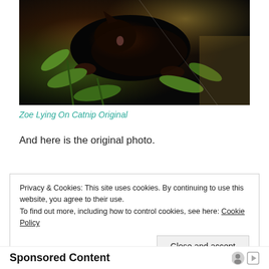[Figure (photo): A dark-furred cat (Zoe) lying on catnip plant with green leaves, photographed from above]
Zoe Lying On Catnip Original
And here is the original photo.
Privacy & Cookies: This site uses cookies. By continuing to use this website, you agree to their use.
To find out more, including how to control cookies, see here: Cookie Policy
Close and accept
Sponsored Content